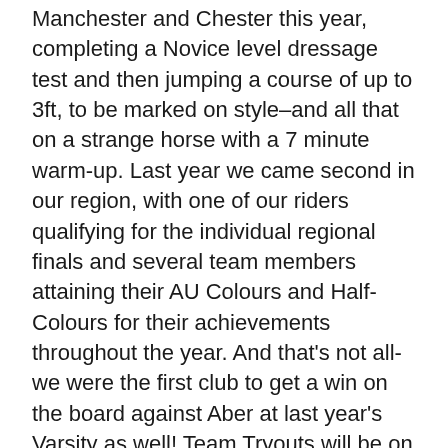Manchester and Chester this year, completing a Novice level dressage test and then jumping a course of up to 3ft, to be marked on style–and all that on a strange horse with a 7 minute warm-up. Last year we came second in our region, with one of our riders qualifying for the individual regional finals and several team members attaining their AU Colours and Half-Colours for their achievements throughout the year. And that's not all-we were the first club to get a win on the board against Aber at last year's Varsity as well! Team Tryouts will be on Wednesday 3rd October 12pm onwards contact Amy Galvin on bangorriding@hotmail.co.uk for more details.
However if BUCS seems a bit much for you, there are competition opportunities for all, no matter how long you have been riding. We regularly run dressage,